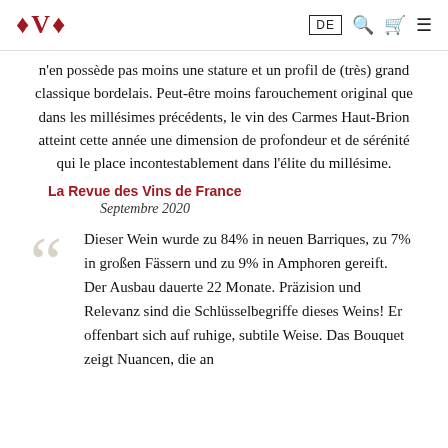V | DE | [search] [cart] [menu]
n'en possède pas moins une stature et un profil de (très) grand classique bordelais. Peut-être moins farouchement original que dans les millésimes précédents, le vin des Carmes Haut-Brion atteint cette année une dimension de profondeur et de sérénité qui le place incontestablement dans l'élite du millésime.
La Revue des Vins de France
Septembre 2020
Dieser Wein wurde zu 84% in neuen Barriques, zu 7% in großen Fässern und zu 9% in Amphoren gereift. Der Ausbau dauerte 22 Monate. Präzision und Relevanz sind die Schlüsselbegriffe dieses Weins! Er offenbart sich auf ruhige, subtile Weise. Das Bouquet zeigt Nuancen, die an